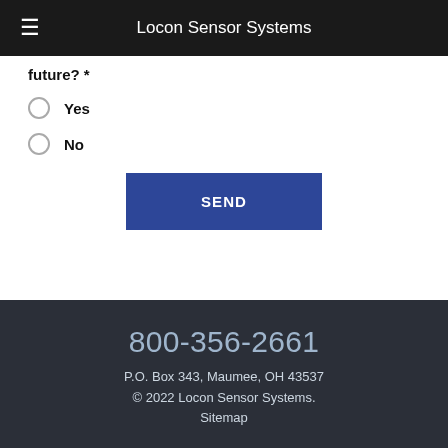Locon Sensor Systems
future? *
Yes
No
SEND
800-356-2661
P.O. Box 343, Maumee, OH 43537
© 2022 Locon Sensor Systems.
Sitemap